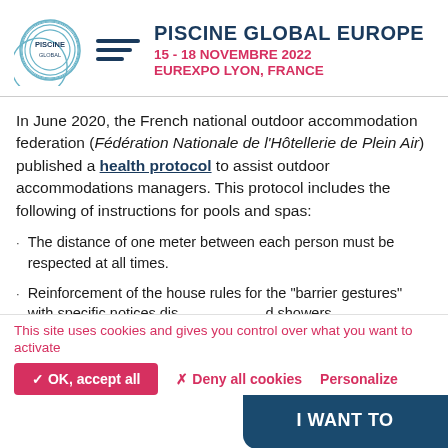PISCINE GLOBAL EUROPE | 15 - 18 NOVEMBRE 2022 | EUREXPO LYON, FRANCE
In June 2020, the French national outdoor accommodation federation (Fédération Nationale de l'Hôtellerie de Plein Air) published a health protocol to assist outdoor accommodations managers. This protocol includes the following of instructions for pools and spas:
The distance of one meter between each person must be respected at all times.
Reinforcement of the house rules for the "barrier gestures" with specific notices dis[played at the] showers.
[Figure (other): Dark blue rounded rectangle popup overlay with text 'I WANT TO']
This site uses cookies and gives you control over what you want to activate
✓ OK, accept all   ✗ Deny all cookies   Personalize